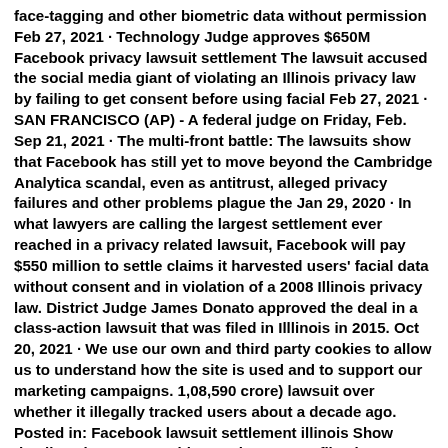face-tagging and other biometric data without permission Feb 27, 2021 · Technology Judge approves $650M Facebook privacy lawsuit settlement The lawsuit accused the social media giant of violating an Illinois privacy law by failing to get consent before using facial Feb 27, 2021 · SAN FRANCISCO (AP) - A federal judge on Friday, Feb. Sep 21, 2021 · The multi-front battle: The lawsuits show that Facebook has still yet to move beyond the Cambridge Analytica scandal, even as antitrust, alleged privacy failures and other problems plague the Jan 29, 2020 · In what lawyers are calling the largest settlement ever reached in a privacy related lawsuit, Facebook will pay $550 million to settle claims it harvested users' facial data without consent and in violation of a 2008 Illinois privacy law. District Judge James Donato approved the deal in a class-action lawsuit that was filed in Illlinois in 2015. Oct 20, 2021 · We use our own and third party cookies to allow us to understand how the site is used and to support our marketing campaigns. 1,08,590 crore) lawsuit over whether it illegally tracked users about a decade ago. Posted in: Facebook lawsuit settlement illinois Show details Feb 27, 2021 · This March 29, 2018, file photo shows the Facebook logo on screens at the Nasdaq MarketSite, in New York's Times Square. 26, 2021 approved a $650 million settlement of a privacy lawsuit against Facebook for allegedly using photo face-tagging and other biometric data without permission Feb 28, 2021 · As Facebook